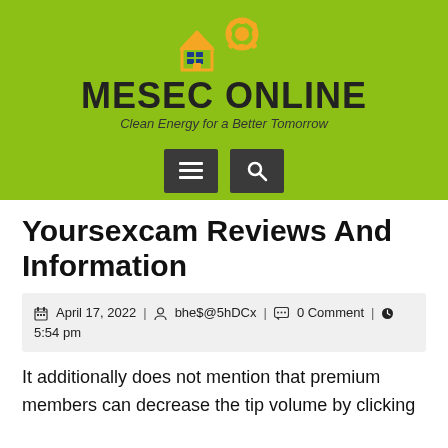[Figure (logo): MESEC ONLINE logo with solar panel and gear graphic, tagline: Clean Energy for a Better Tomorrow]
Yoursexcam Reviews And Information
April 17, 2022 | bhe$@5hDCx | 0 Comment | 5:54 pm
It additionally does not mention that premium members can decrease the tip volume by clicking